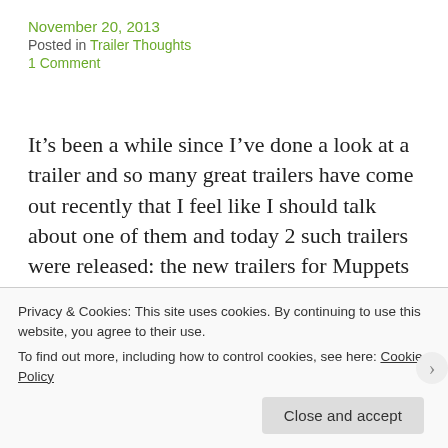November 20, 2013
Posted in Trailer Thoughts
1 Comment
It’s been a while since I’ve done a look at a trailer and so many great trailers have come out recently that I feel like I should talk about one of them and today 2 such trailers were released: the new trailers for Muppets Most Wanted.
http://youtube.googleapis.com/v/FV5x6QMuYjg&s
Privacy & Cookies: This site uses cookies. By continuing to use this website, you agree to their use.
To find out more, including how to control cookies, see here: Cookie Policy
Close and accept